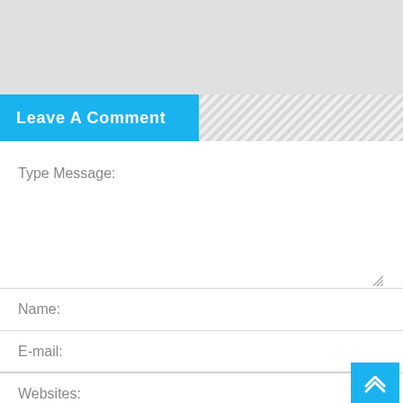Leave A Comment
Type Message:
Name:
E-mail:
Websites: